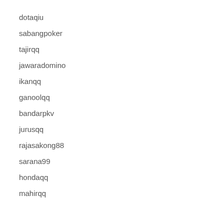dotaqiu
sabangpoker
tajirqq
jawaradomino
ikanqq
ganoolqq
bandarpkv
jurusqq
rajasakong88
sarana99
hondaqq
mahirqq